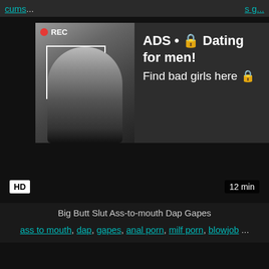cums... ...s g...
[Figure (screenshot): Video player with ad overlay showing a woman taking a selfie in a bathroom mirror. REC indicator top-left. Ad text: ADS • 🔒 Dating for men! Find bad girls here 🔒. HD badge bottom-left, 12 min duration bottom-right.]
Big Butt Slut Ass-to-mouth Dap Gapes
ass to mouth, dap, gapes, anal porn, milf porn, blowjob ...
[Figure (screenshot): Black video preview thumbnail at bottom of page]